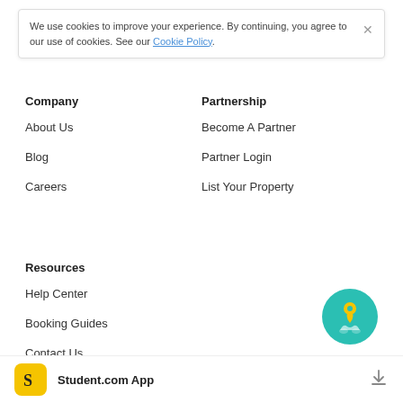We use cookies to improve your experience. By continuing, you agree to our use of cookies. See our Cookie Policy.
Company
Partnership
About Us
Become A Partner
Blog
Partner Login
Careers
List Your Property
Resources
Help Center
Booking Guides
Contact Us
[Figure (illustration): Teal circular button with a yellow map pin/location icon and two small person silhouettes below]
Student.com App